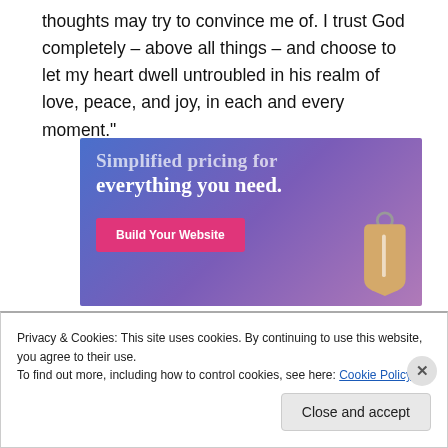thoughts may try to convince me of. I trust God completely – above all things – and choose to let my heart dwell untroubled in his realm of love, peace, and joy, in each and every moment."
[Figure (screenshot): Advertisement banner with blue-to-purple gradient background. Text reads 'Simplified pricing for everything you need.' with a pink 'Build Your Website' button and a price tag graphic.]
Privacy & Cookies: This site uses cookies. By continuing to use this website, you agree to their use.
To find out more, including how to control cookies, see here: Cookie Policy
Close and accept